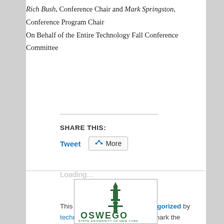Rich Bush, Conference Chair and Mark Springston, Conference Program Chair
On Behalf of the Entire Technology Fall Conference Committee
SHARE THIS:
Tweet | More
Loading...
This entry was posted in Uncategorized by technologyfallconference. Bookmark the permalink.
[Figure (logo): OSWEGO State University of New York logo with a stylized tower/lighthouse icon in dark green]